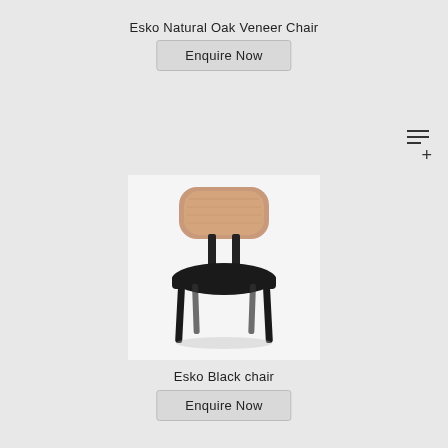Esko Natural Oak Veneer Chair
Enquire Now
[Figure (photo): Esko chair with natural oak veneer back, black upholstered seat, and black metal legs on white background]
Esko Black chair
Enquire Now